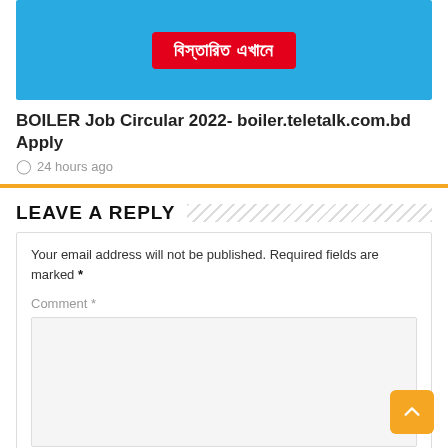[Figure (illustration): Blue background banner image with a red button containing Bengali text 'বিস্তারিত এখানে']
BOILER Job Circular 2022- boiler.teletalk.com.bd Apply
24 hours ago
LEAVE A REPLY
Your email address will not be published. Required fields are marked *
Comment *
Name *